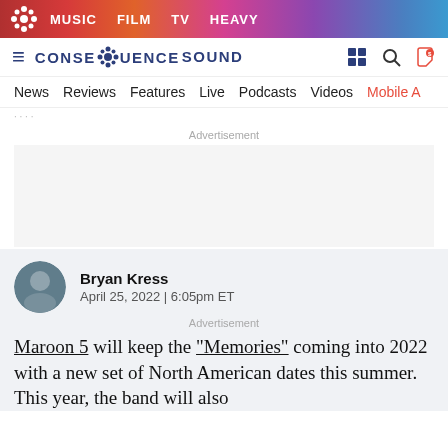MUSIC  FILM  TV  HEAVY
[Figure (logo): Consequence Sound logo with gear icon and navigation icons]
News  Reviews  Features  Live  Podcasts  Videos  Mobile A
Advertisement
Bryan Kress
April 25, 2022 | 6:05pm ET
Advertisement
Maroon 5 will keep the “Memories” coming into 2022 with a new set of North American dates this summer. This year, the band will also